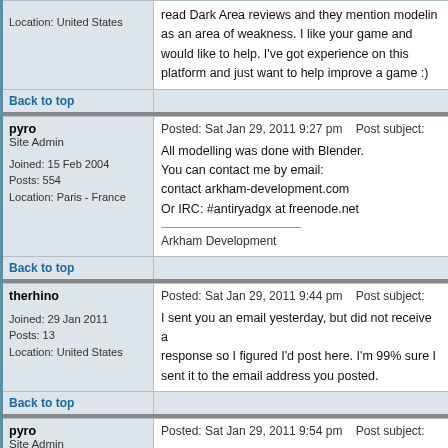Location: United States
read Dark Area reviews and they mention modeling as an area of weakness. I like your game and would like to help. I've got experience on this platform and just want to help improve a game :)
Back to top
pyro
Site Admin
Joined: 15 Feb 2004
Posts: 554
Location: Paris - France
Posted: Sat Jan 29, 2011 9:27 pm    Post subject:
All modelling was done with Blender.
You can contact me by email:
contact arkham-development.com
Or IRC: #antiryadgx at freenode.net

Arkham Development
Back to top
therhino
Joined: 29 Jan 2011
Posts: 13
Location: United States
Posted: Sat Jan 29, 2011 9:44 pm    Post subject:
I sent you an email yesterday, but did not receive a response so I figured I'd post here. I'm 99% sure I sent it to the email address you posted.
Back to top
pyro
Site Admin
Posted: Sat Jan 29, 2011 9:54 pm    Post subject: